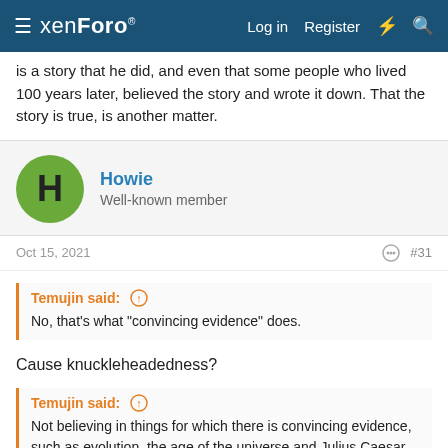xenForo | Log in | Register
is a story that he did, and even that some people who lived 100 years later, believed the story and wrote it down. That the story is true, is another matter.
Howie
Well-known member
Oct 15, 2021  #31
Temujin said:
No, that's what "convincing evidence" does.
Cause knuckleheadedness?
Temujin said:
Not believing in things for which there is convincing evidence, such as evolution, the age of the universe and Julius Caesar, would be knuckle headed.
And would be a knuckle headed rejection, is the historians...